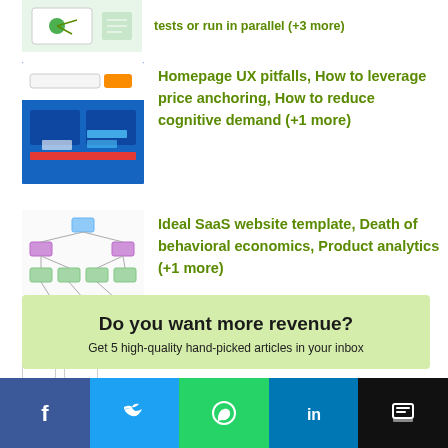tests or run in parallel (+3 more)
[Figure (screenshot): Map/navigation screenshot thumbnail]
Homepage UX pitfalls, How to leverage price anchoring, How to reduce cognitive demand (+1 more)
[Figure (screenshot): Homepage UX pitfalls article thumbnail showing a website interface with blue tones]
Ideal SaaS website template, Death of behavioral economics, Product analytics (+1 more)
[Figure (screenshot): Ideal SaaS website template article thumbnail showing a wireframe diagram]
Do you want more revenue?
Get 5 high-quality hand-picked articles in your inbox